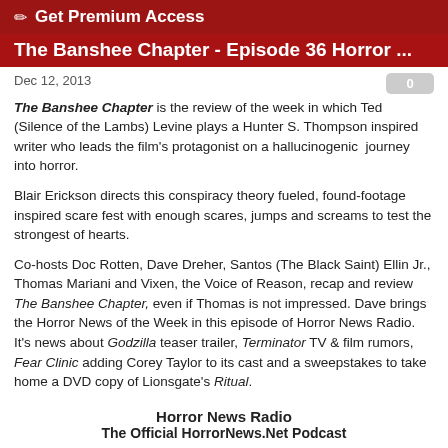✏ Get Premium Access
The Banshee Chapter - Episode 36 Horror ...
Dec 12, 2013
The Banshee Chapter is the review of the week in which Ted (Silence of the Lambs) Levine plays a Hunter S. Thompson inspired writer who leads the film's protagonist on a hallucinogenic journey into horror.
Blair Erickson directs this conspiracy theory fueled, found-footage inspired scare fest with enough scares, jumps and screams to test the strongest of hearts.
Co-hosts Doc Rotten, Dave Dreher, Santos (The Black Saint) Ellin Jr., Thomas Mariani and Vixen, the Voice of Reason, recap and review The Banshee Chapter, even if Thomas is not impressed. Dave brings the Horror News of the Week in this episode of Horror News Radio. It's news about Godzilla teaser trailer, Terminator TV & film rumors, Fear Clinic adding Corey Taylor to its cast and a sweepstakes to take home a DVD copy of Lionsgate's Ritual.
Horror News Radio
The Official HorrorNews.Net Podcast